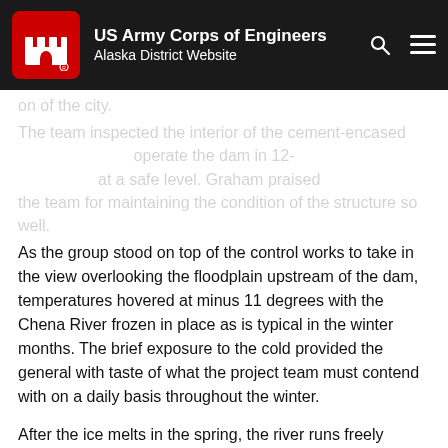US Army Corps of Engineers Alaska District Website
on of the city.
The team inspected the interior of the cement-encased the team for maintaining the condition of the structure so well.
As the group stood on top of the control works to take in the view overlooking the floodplain upstream of the dam, temperatures hovered at minus 11 degrees with the Chena River frozen in place as is typical in the winter months. The brief exposure to the cold provided the general with taste of what the project team must contend with on a daily basis throughout the winter.
After the ice melts in the spring, the river runs freely through the dam during the summer months. Once this happens, a team from the district monitors water levels to determine if the dam needs to operate.
“It can happen anytime the river is thawed,” Anderson said. “We have operated the dam 30 times since it was constructed.”